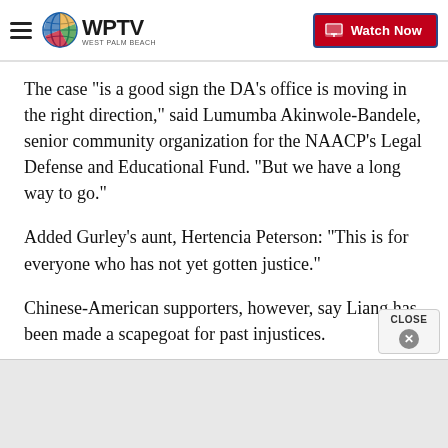WPTV West Palm Beach — Watch Now
The case "is a good sign the DA's office is moving in the right direction," said Lumumba Akinwole-Bandele, senior community organization for the NAACP's Legal Defense and Educational Fund. "But we have a long way to go."
Added Gurley's aunt, Hertencia Peterson: "This is for everyone who has not yet gotten justice."
Chinese-American supporters, however, say Liang has been made a scapegoat for past injustices.